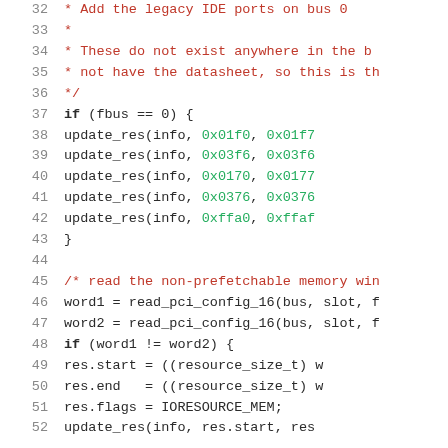Source code listing, lines 32-52, showing C code for adding legacy IDE ports and reading non-prefetchable memory windows via PCI config.